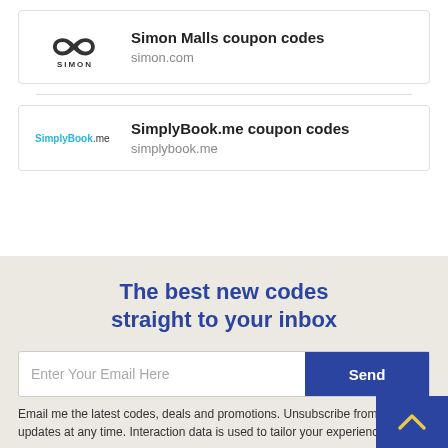Simon Malls coupon codes
simon.com
SimplyBook.me coupon codes
simplybook.me
The best new codes straight to your inbox
Enter Your Email Here
Email me the latest codes, deals and promotions. Unsubscribe from these updates at any time. Interaction data is used to tailor your experience and